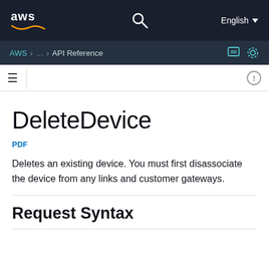aws  English  API Reference
DeleteDevice
PDF
Deletes an existing device. You must first disassociate the device from any links and customer gateways.
Request Syntax